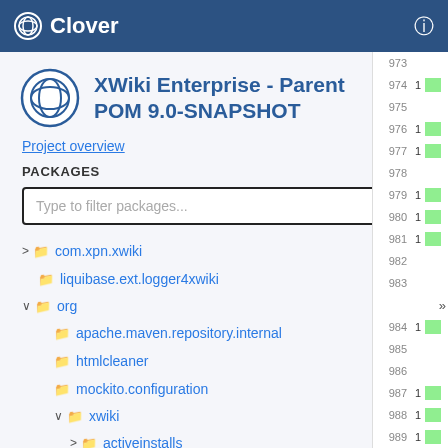Clover
XWiki Enterprise - Parent POM 9.0-SNAPSHOT
Project overview
PACKAGES
Type to filter packages...
> com.xpn.xwiki 60.6%
liquibase.ext.logger4xwiki 0%
v org
apache.maven.repository.internal 100%
htmlcleaner 73.8%
mockito.configuration 100%
v xwiki
> activeinstalls 0%
activitystream 34.8%
| Line | Count |  |
| --- | --- | --- |
| 973 |  |  |
| 974 | 1 | green |
| 975 |  |  |
| 976 | 1 | green |
| 977 | 1 | green |
| 978 |  |  |
| 979 | 1 | green |
| 980 | 1 | green |
| 981 | 1 | green |
| 982 |  |  |
| 983 |  |  |
| » |  |  |
| 984 | 1 | green |
| 985 |  |  |
| 986 |  |  |
| 987 | 1 | green |
| 988 | 1 | green |
| 989 | 1 | green |
| 990 | 1 | green |
| 991 |  |  |
| 992 |  |  |
| 993 | 1 | green |
| 994 |  |  |